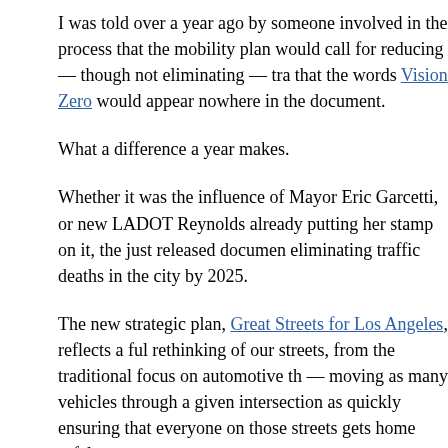I was told over a year ago by someone involved in the process that the mobility plan would call for reducing — though not eliminating — tra... that the words Vision Zero would appear nowhere in the document.
What a difference a year makes.
Whether it was the influence of Mayor Eric Garcetti, or new LADOT Reynolds already putting her stamp on it, the just released document eliminating traffic deaths in the city by 2025.
The new strategic plan, Great Streets for Los Angeles, reflects a fu... rethinking of our streets, from the traditional focus on automotive th... — moving as many vehicles through a given intersection as quickly... ensuring that everyone on those streets gets home safely.
And that, instead of destroying our neighborhoods, our streets will be key to revitalizing them.
After years of never uttering the phrase — despite nearly ceaseles... myself, the LACBC and others — city officials have finally joined No... Francisco in committing to a Vision Zero plan to eliminate traffic fat...
Make no mistake. It won't be easy.